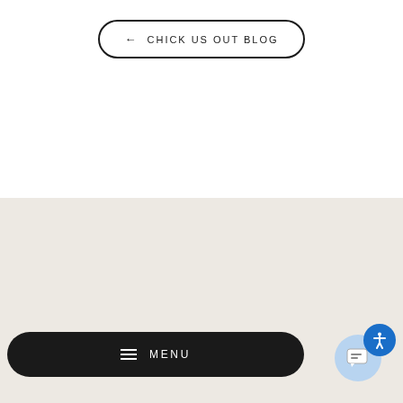← CHICK US OUT BLOG
[Figure (illustration): Beige/cream colored background section (footer area)]
≡ MENU
[Figure (illustration): Accessibility widget with chat bubble and accessibility icon]